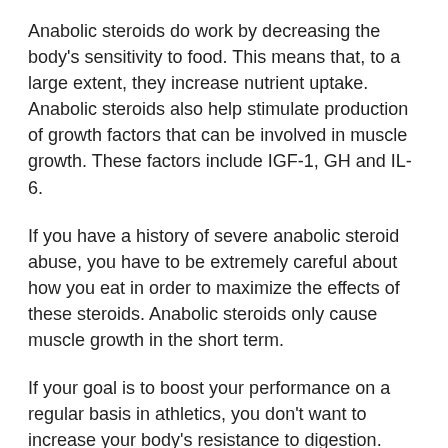Anabolic steroids do work by decreasing the body's sensitivity to food. This means that, to a large extent, they increase nutrient uptake. Anabolic steroids also help stimulate production of growth factors that can be involved in muscle growth. These factors include IGF-1, GH and IL-6.
If you have a history of severe anabolic steroid abuse, you have to be extremely careful about how you eat in order to maximize the effects of these steroids. Anabolic steroids only cause muscle growth in the short term.
If your goal is to boost your performance on a regular basis in athletics, you don't want to increase your body's resistance to digestion.
Anabolic steroids use often increases the amount of fat you store in your abdominal